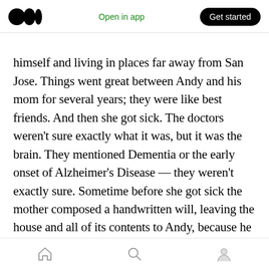Open in app | Get started
himself and living in places far away from San Jose. Things went great between Andy and his mom for several years; they were like best friends. And then she got sick. The doctors weren't sure exactly what it was, but it was the brain. They mentioned Dementia or the early onset of Alzheimer's Disease — they weren't exactly sure. Sometime before she got sick the mother composed a handwritten will, leaving the house and all of its contents to Andy, because he was the good son. He was the one who stayed behind and took care of her in those hard and
Home | Search | Profile